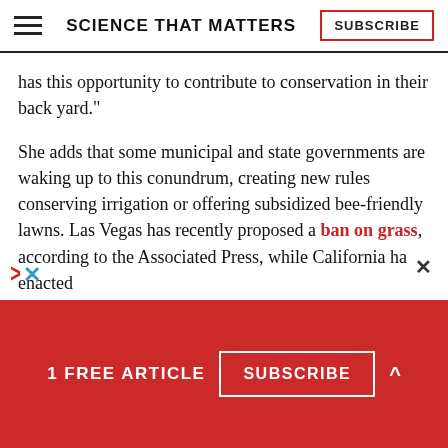SCIENCE THAT MATTERS
has this opportunity to contribute to conservation in their back yard."
She adds that some municipal and state governments are waking up to this conundrum, creating new rules conserving irrigation or offering subsidized bee-friendly lawns. Las Vegas has recently proposed a ban on grass, according to the Associated Press, while California has enacted
1 FREE ARTICLE  SUBSCRIBE